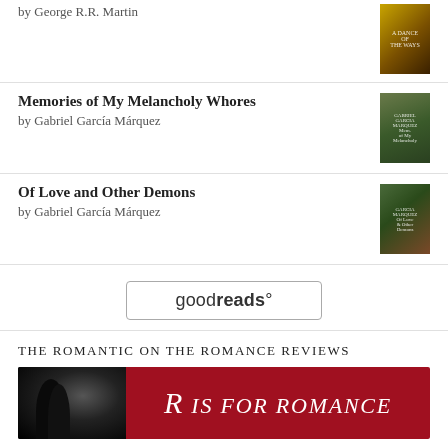by George R.R. Martin
Memories of My Melancholy Whores
by Gabriel García Márquez
Of Love and Other Demons
by Gabriel García Márquez
[Figure (logo): goodreads button/logo with rounded rectangle border]
THE ROMANTIC ON THE ROMANCE REVIEWS
[Figure (infographic): R IS FOR ROMANCE banner with dark photo silhouette on left and red background with white italic text on right]
CATEGORIES